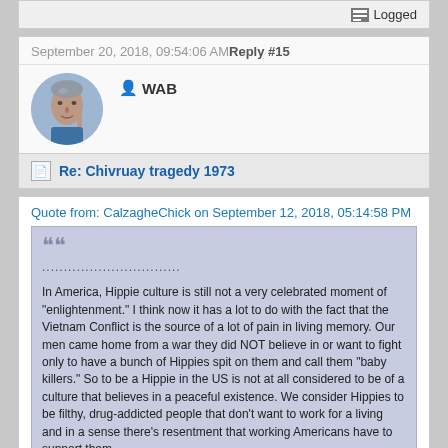Logged
September 20, 2018, 09:54:06 AM Reply #15
WAB
[Figure (photo): Circular avatar photo of an older man with gray hair, gesturing with one finger raised]
Re: Chivruay tragedy 1973
Quote from: CalzagheChick on September 12, 2018, 05:14:58 PM
................................

In America, Hippie culture is still not a very celebrated moment of "enlightenment." I think now it has a lot to do with the fact that the Vietnam Conflict is the source of a lot of pain in living memory. Our men came home from a war they did NOT believe in or want to fight only to have a bunch of Hippies spit on them and call them "baby killers." So to be a Hippie in the US is not at all considered to be of a culture that believes in a peaceful existence. We consider Hippies to be filthy, drug-addicted people that don't want to work for a living and in a sense there's resentment that working Americans have to support them.
Thanks you for specification. I any more do not remember, we spoke